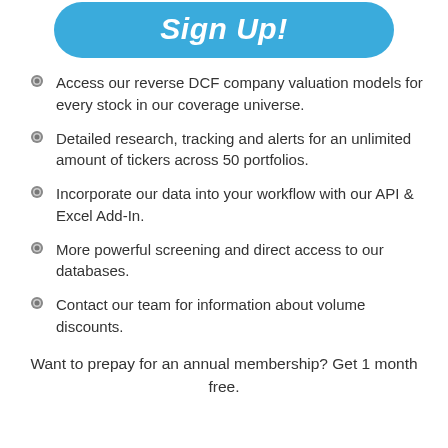Sign Up!
Access our reverse DCF company valuation models for every stock in our coverage universe.
Detailed research, tracking and alerts for an unlimited amount of tickers across 50 portfolios.
Incorporate our data into your workflow with our API & Excel Add-In.
More powerful screening and direct access to our databases.
Contact our team for information about volume discounts.
Want to prepay for an annual membership? Get 1 month free.